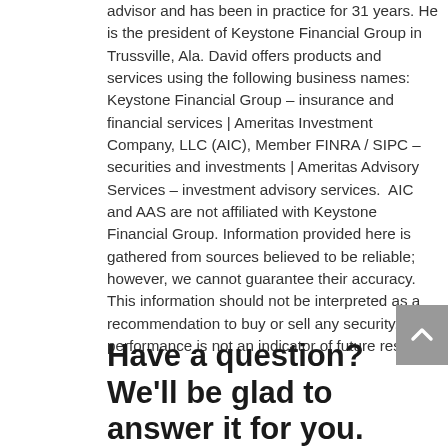advisor and has been in practice for 31 years. He is the president of Keystone Financial Group in Trussville, Ala. David offers products and services using the following business names:  Keystone Financial Group – insurance and financial services | Ameritas Investment Company, LLC (AIC), Member FINRA / SIPC – securities and investments | Ameritas Advisory Services – investment advisory services.  AIC and AAS are not affiliated with Keystone Financial Group. Information provided here is gathered from sources believed to be reliable; however, we cannot guarantee their accuracy. This information should not be interpreted as a recommendation to buy or sell any security. Past performance is not an indicator of future results.
Have a question? We'll be glad to answer it for you.